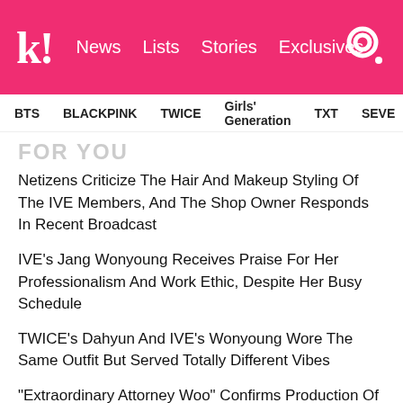koreaboo | News | Lists | Stories | Exclusives
BTS | BLACKPINK | TWICE | Girls' Generation | TXT | SEVE
FOR YOU
Netizens Criticize The Hair And Makeup Styling Of The IVE Members, And The Shop Owner Responds In Recent Broadcast
IVE's Jang Wonyoung Receives Praise For Her Professionalism And Work Ethic, Despite Her Busy Schedule
TWICE's Dahyun And IVE's Wonyoung Wore The Same Outfit But Served Totally Different Vibes
"Extraordinary Attorney Woo" Confirms Production Of Season 2
WINNER's Kang Seungyoon Spotted With Rumored Girlfriend, YG Entertainment Actress Moon Ji Hyo